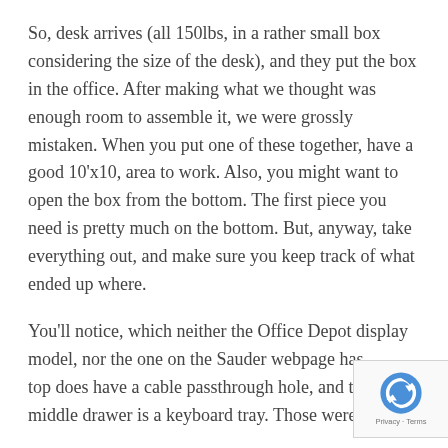So, desk arrives (all 150lbs, in a rather small box considering the size of the desk), and they put the box in the office. After making what we thought was enough room to assemble it, we were grossly mistaken. When you put one of these together, have a good 10'x10, area to work. Also, you might want to open the box from the bottom. The first piece you need is pretty much on the bottom. But, anyway, take everything out, and make sure you keep track of what ended up where.
You'll notice, which neither the Office Depot display model, nor the one on the Sauder webpage has, top does have a cable passthrough hole, and the middle drawer is a keyboard tray. Those were my